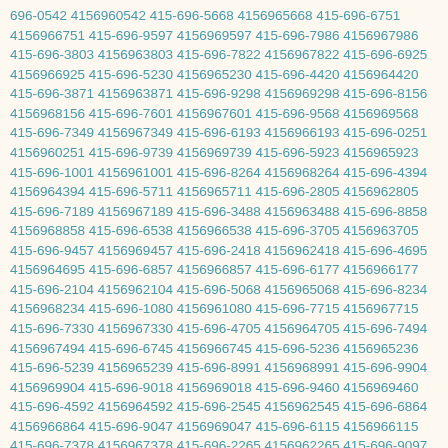696-0542 4156960542 415-696-5668 4156965668 415-696-6751 4156966751 415-696-9597 4156969597 415-696-7986 4156967986 415-696-3803 4156963803 415-696-7822 4156967822 415-696-6925 4156966925 415-696-5230 4156965230 415-696-4420 4156964420 415-696-3871 4156963871 415-696-9298 4156969298 415-696-8156 4156968156 415-696-7601 4156967601 415-696-9568 4156969568 415-696-7349 4156967349 415-696-6193 4156966193 415-696-0251 4156960251 415-696-9739 4156969739 415-696-5923 4156965923 415-696-1001 4156961001 415-696-8264 4156968264 415-696-4394 4156964394 415-696-5711 4156965711 415-696-2805 4156962805 415-696-7189 4156967189 415-696-3488 4156963488 415-696-8858 4156968858 415-696-6538 4156966538 415-696-3705 4156963705 415-696-9457 4156969457 415-696-2418 4156962418 415-696-4695 4156964695 415-696-6857 4156966857 415-696-6177 4156966177 415-696-2104 4156962104 415-696-5068 4156965068 415-696-8234 4156968234 415-696-1080 4156961080 415-696-7715 4156967715 415-696-7330 4156967330 415-696-4705 4156964705 415-696-7494 4156967494 415-696-6745 4156966745 415-696-5236 4156965236 415-696-5239 4156965239 415-696-8991 4156968991 415-696-9904 4156969904 415-696-9018 4156969018 415-696-9460 4156969460 415-696-4592 4156964592 415-696-2545 4156962545 415-696-6864 4156966864 415-696-9047 4156969047 415-696-6115 4156966115 415-696-7378 4156967378 415-696-2265 4156962265 415-696-9097 4156969097 415-696-0747 4156960747 415-696-9474 4156969474 415-696-0122 4156960122 415-696-2307 4156962307 415-696-6687 4156966687 415-696-8250 4156968250 415-696-6031 4156966031 415-696-1558 4156961558 415-696-4783 4156964783 415-696-2184